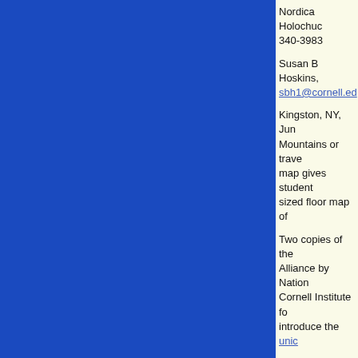[Figure (other): Large solid blue rectangle occupying the left portion of the page]
Nordica Holochuc 340-3983
Susan B Hoskins, sbh1@cornell.ed
Kingston, NY, Jun Mountains or trave map gives student sized floor map of
Two copies of the Alliance by Nation Cornell Institute fo introduce the unic
The map, which p raising awareness organizations this
Susan Hoskins, s workshops with te classroom student measuring the len
“The beautiful thin